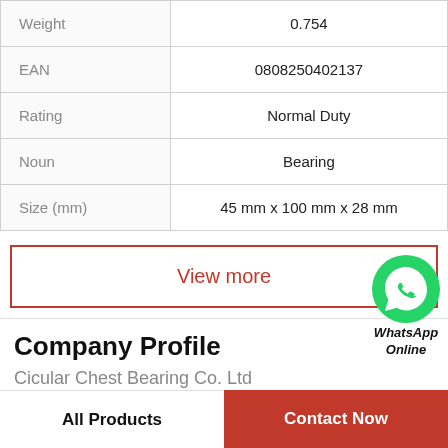| Property | Value |
| --- | --- |
| Weight | 0.754 |
| EAN | 0808250402137 |
| Rating | Normal Duty |
| Noun | Bearing |
| Size (mm) | 45 mm x 100 mm x 28 mm |
View more
Company Profile
Cicular Chest Bearing Co. Ltd
All Products | Contact Now